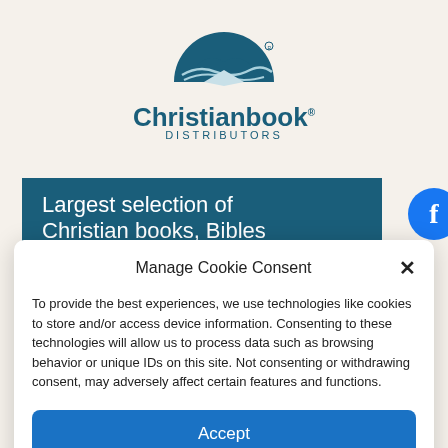[Figure (logo): Christianbook Distributors logo: dark teal semicircle with book/wave design above the text 'Christianbook DISTRIBUTORS']
Largest selection of Christian books, Bibles
Manage Cookie Consent
To provide the best experiences, we use technologies like cookies to store and/or access device information. Consenting to these technologies will allow us to process data such as browsing behavior or unique IDs on this site. Not consenting or withdrawing consent, may adversely affect certain features and functions.
Accept
English
kie Policy